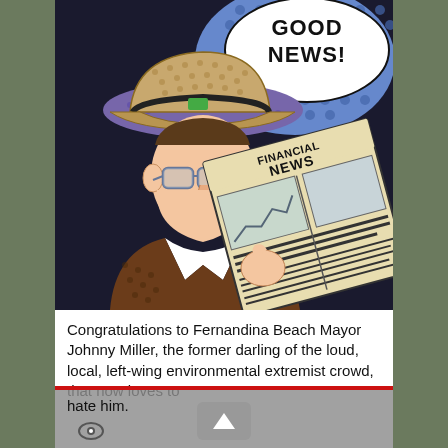[Figure (illustration): Pop-art style comic illustration of a man in a fedora hat and glasses reading a newspaper labeled 'FINANCIAL NEWS'. A speech bubble above reads 'GOOD NEWS!'. The man is in a brown suit, the background is dark/blue with dots.]
Congratulations to Fernandina Beach Mayor Johnny Miller, the former darling of the loud, local, left-wing environmental extremist crowd, that now loves to hate him.